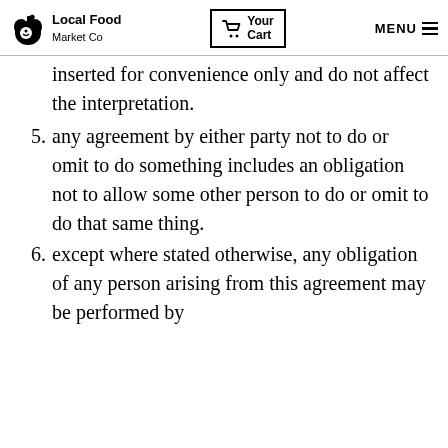Local Food Market Co | Your Cart | MENU
inserted for convenience only and do not affect the interpretation.
5. any agreement by either party not to do or omit to do something includes an obligation not to allow some other person to do or omit to do that same thing.
6. except where stated otherwise, any obligation of any person arising from this agreement may be performed by